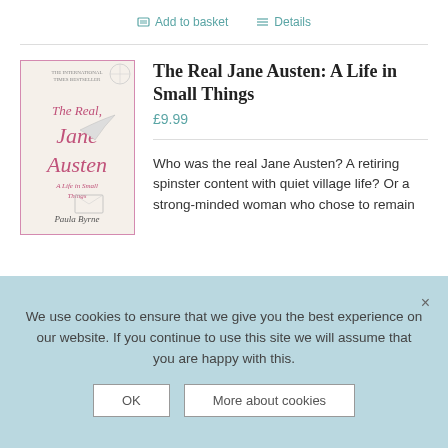Add to basket   Details
[Figure (illustration): Book cover of 'The Real Jane Austen: A Life in Small Things' by Paula Byrne, with pink script title on cream background]
The Real Jane Austen: A Life in Small Things
£9.99
Who was the real Jane Austen? A retiring spinster content with quiet village life? Or a strong-minded woman who chose to remain
We use cookies to ensure that we give you the best experience on our website. If you continue to use this site we will assume that you are happy with this.